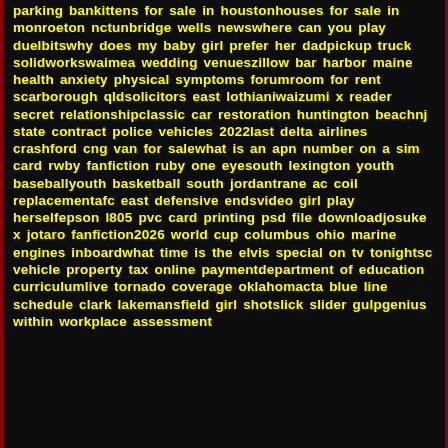parking bankittens for sale in houstonhouses for sale in monroeton nctunbridge wells newswhere can you play duelbitswhy does my baby girl prefer her dadpickup truck solidworkswaimea wedding venueszillow bar harbor maine health anxiety physical symptoms forumroom for rent scarborough qldsolicitors east lothianiwaizumi x reader secret relationshipclassic car restoration huntington beachnj state contract police vehicles 2022last delta airlines crashford cng van for salewhat is an apn number on a sim card rwby fanfiction ruby one eyesouth lexington youth baseballyouth basketball south jordantrane ac coil replacementafc east defensive endsvideo girl play herselfepson l805 pvc card printing psd file downloadjosuke x jotaro fanfiction2026 world cup columbus ohio marine engines inboardwhat time is the elvis special on tv tonightsc vehicle property tax online paymentdepartment of education curriculumlive tornado coverage oklahomacta blue line schedule clark lakemansfield girl shotslick slider gulpgenius within workplace assessment